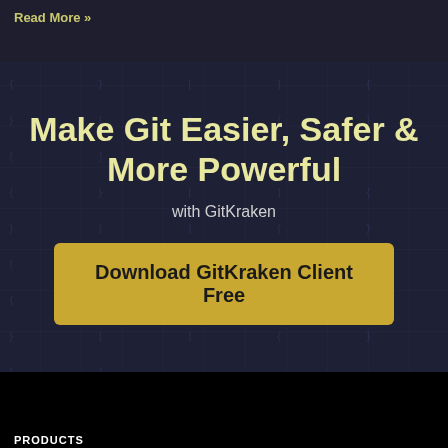Read More »
Make Git Easier, Safer & More Powerful
with GitKraken
Download GitKraken Client Free
PRODUCTS